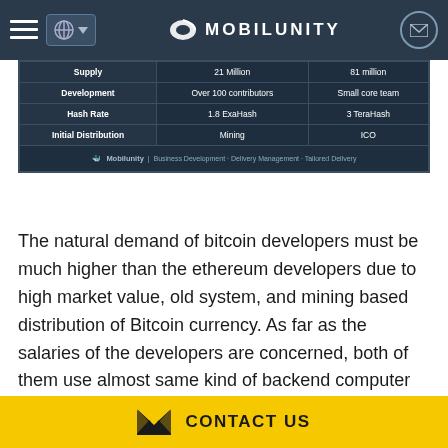MOBILUNITY
|  | Bitcoin | Dash |
| --- | --- | --- |
| Supply | 21 Million | 81 million |
| Development | Over 100 contributors | Small core team |
| Hash Rate | 1.8 ExaHash | 3 TeraHash |
| Initial Distribution | Mining | ICO |
The natural demand of bitcoin developers must be much higher than the ethereum developers due to high market value, old system, and mining based distribution of Bitcoin currency. As far as the salaries of the developers are concerned, both of them use almost same kind of backend computer technologies – proof of work (POW). Therefore,
CONTACT US